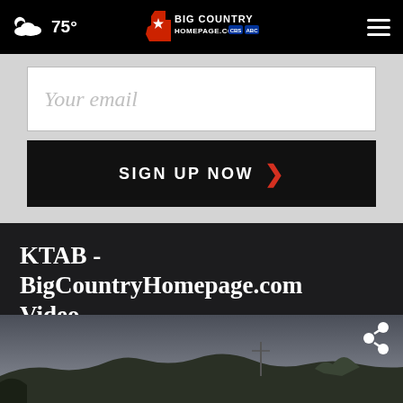75° Big Country Homepage
[Figure (screenshot): Email signup form with 'Your email' placeholder and 'SIGN UP NOW' button on light gray background]
KTAB - BigCountryHomepage.com Video
[Figure (photo): Outdoor landscape/nature scene with dark sky, trees and hills, share icon overlay in upper right]